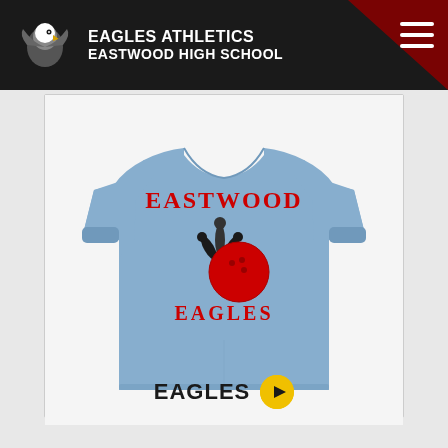EAGLES ATHLETICS EASTWOOD HIGH SCHOOL
[Figure (photo): Light blue long-sleeve t-shirt with Eastwood Eagles bowling graphic. The shirt features the text EASTWOOD in red collegiate lettering at top, a bowling ball and pins graphic in red and black in the center, and EAGLES text below the graphic in red.]
EAGLES